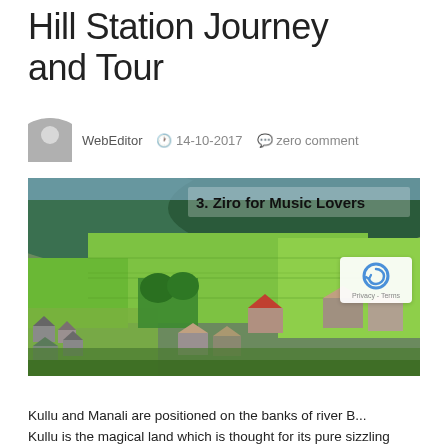Hill Station Journey and Tour
WebEditor  14-10-2017  zero comment
[Figure (photo): Aerial view of Ziro valley with green rice paddies, scattered village houses with metal roofs, and forested hills in the background. Text overlay reads: '3. Ziro for Music Lovers']
Kullu and Manali are positioned on the banks of river B... Kullu is the magical land which is thought for its pure sizzling